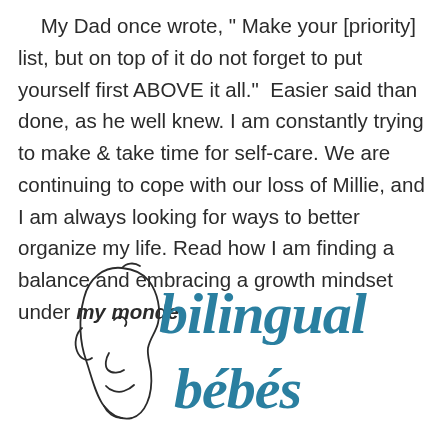My Dad once wrote, “ Make your [priority] list, but on top of it do not forget to put yourself first ABOVE it all.”  Easier said than done, as he well knew. I am constantly trying to make & take time for self-care. We are continuing to cope with our loss of Millie, and I am always looking for ways to better organize my life. Read how I am finding a balance and embracing a growth mindset under my monde.
[Figure (logo): Bilingual Bébés logo: cursive teal/blue script text reading 'bilingual bébés' with a minimalist line drawing of a baby's face profile in dark ink on the left side.]